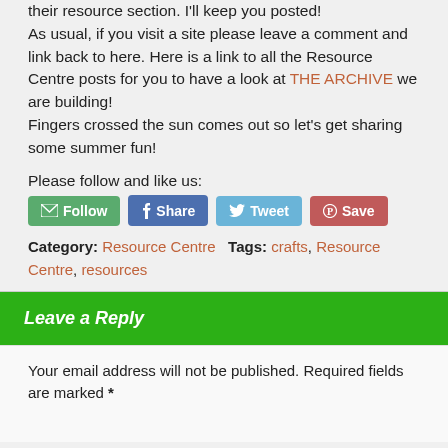their resource section. I'll keep you posted!
As usual, if you visit a site please leave a comment and link back to here. Here is a link to all the Resource Centre posts for you to have a look at THE ARCHIVE we are building!
Fingers crossed the sun comes out so let's get sharing some summer fun!
Please follow and like us:
[Figure (other): Social sharing buttons: Follow (green), Share (blue/facebook), Tweet (light blue/twitter), Save (red/pinterest)]
Category: Resource Centre  Tags: crafts, Resource Centre, resources
Leave a Reply
Your email address will not be published. Required fields are marked *